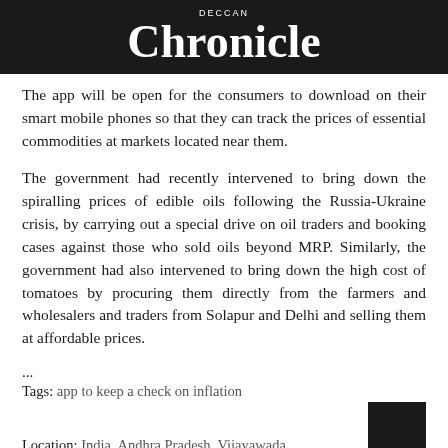DECCAN Chronicle
The app will be open for the consumers to download on their smart mobile phones so that they can track the prices of essential commodities at markets located near them.
The government had recently intervened to bring down the spiralling prices of edible oils following the Russia-Ukraine crisis, by carrying out a special drive on oil traders and booking cases against those who sold oils beyond MRP. Similarly, the government had also intervened to bring down the high cost of tomatoes by procuring them directly from the farmers and wholesalers and traders from Solapur and Delhi and selling them at affordable prices.
...
Tags: app to keep a check on inflation
Location: India, Andhra Pradesh, Vijayawada